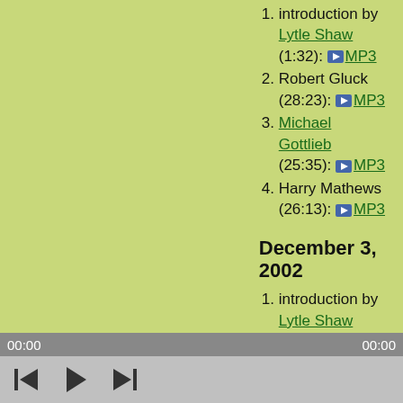1. introduction by Lytle Shaw (1:32): ▶ MP3
2. Robert Gluck (28:23): ▶ MP3
3. Michael Gottlieb (25:35): ▶ MP3
4. Harry Mathews (26:13): ▶ MP3
December 3, 2002
1. introduction by Lytle Shaw (3:27): ▶ MP3
2. Gary Sullivan (34:51): ▶ MP3
3. Anne Tardos (27:10): ▶ MP3
00:00   00:00